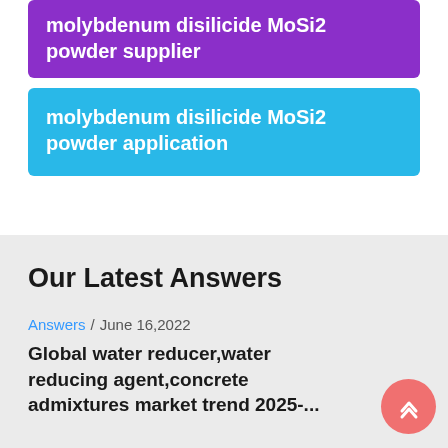molybdenum disilicide MoSi2 powder supplier
molybdenum disilicide MoSi2 powder application
Our Latest Answers
Answers / June 16,2022
Global water reducer,water reducing agent,concrete admixtures market trend 2025-...